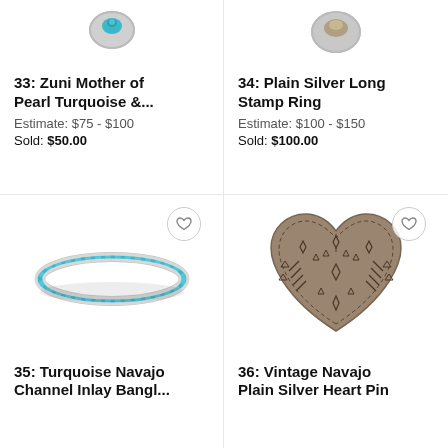[Figure (photo): Partial view of Zuni Mother of Pearl Turquoise ring, cropped at top]
33: Zuni Mother of Pearl Turquoise &...
Estimate: $75 - $100
Sold: $50.00
[Figure (photo): Partial view of Plain Silver Long Stamp Ring, cropped at top]
34: Plain Silver Long Stamp Ring
Estimate: $100 - $150
Sold: $100.00
[Figure (photo): Turquoise Navajo Channel Inlay bangle bracelet with turquoise inlay pattern on a silver band]
35: Turquoise Navajo Channel Inlay Bangl...
[Figure (photo): Vintage Navajo Plain Silver Heart Pin with stamped geometric pattern decoration]
36: Vintage Navajo Plain Silver Heart Pin